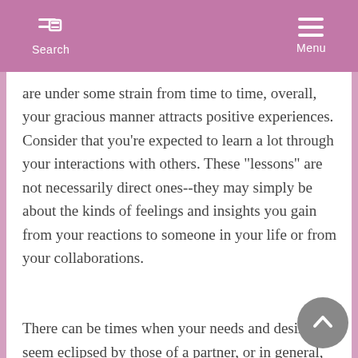Search  Menu
are under some strain from time to time, overall, your gracious manner attracts positive experiences. Consider that you're expected to learn a lot through your interactions with others. These "lessons" are not necessarily direct ones--they may simply be about the kinds of feelings and insights you gain from your reactions to someone in your life or from your collaborations.
There can be times when your needs and desires seem eclipsed by those of a partner, or in general, your personal needs and plans are on the back burner for now. This can lead to a feeling that you